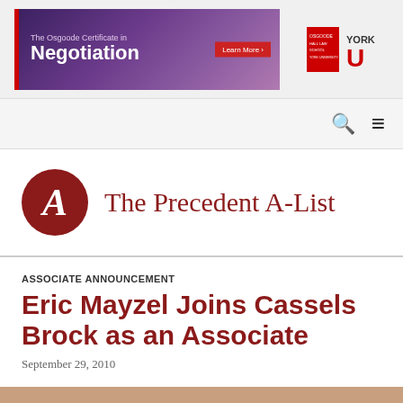[Figure (illustration): Banner advertisement for The Osgoode Certificate in Negotiation with York University logo]
[Figure (logo): The Precedent A-List logo with red circle containing stylized A and serif text]
ASSOCIATE ANNOUNCEMENT
Eric Mayzel Joins Cassels Brock as an Associate
September 29, 2010
[Figure (photo): Partial photo of person at bottom of page]